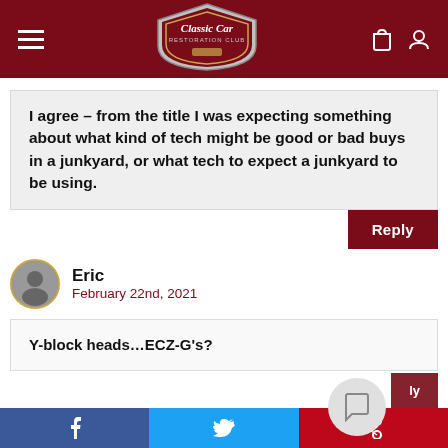[Figure (logo): Classic Car Restoration Club logo shield in header]
I agree – from the title I was expecting something about what kind of tech might be good or bad buys in a junkyard, or what tech to expect a junkyard to be using.
Reply
Eric
February 22nd, 2021
Y-block heads…ECZ-G's?
f  Twitter  Pinterest